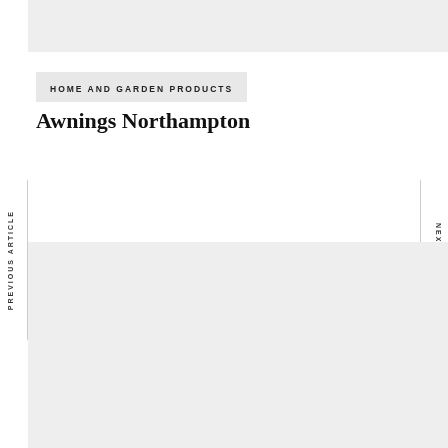HOME AND GARDEN PRODUCTS
Awnings Northampton
PREVIOUS ARTICLE
NEXT ARTICLE